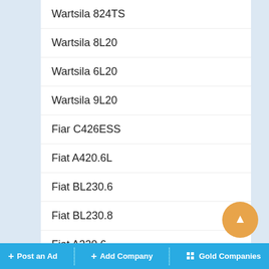Wartsila 824TS
Wartsila 8L20
Wartsila 6L20
Wartsila 9L20
Fiar C426ESS
Fiat A420.6L
Fiat BL230.6
Fiat BL230.8
Fiat A320.6
Fiat AL230.6
Fiat AL230.8
+ Post an Ad  + Add Company  Gold Companies